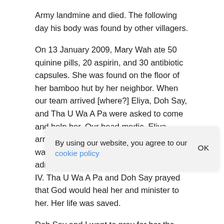Army landmine and died. The following day his body was found by other villagers.
On 13 January 2009, Mary Wah ate 50 quinine pills, 20 aspirin, and 30 antibiotic capsules. She was found on the floor of her bamboo hut by her neighbor. When our team arrived [where?] Eliya, Doh Say, and Tha U Wa A Pa were asked to come and help her. Our head medic, Eliya, arrived at her house around 10pm. She was in shock with low blood pressure. He administered medicine and got her on an IV. Tha U Wa A Pa and Doh Say prayed that God would heal her and minister to her. Her life was saved.
Doh Say and I went to pray for her the next morning. Later that day Tha U Wa A Pa and Tha Ka Paw Doh also went to pray with her and encourage her that God loved her, that many people, like her family and our team loved her, that God had special things for her to do, an...
Th... I had a lot of things to do that day and was tired. I didn't feel like going back across the river to meet her. Then Doh Say turned to me